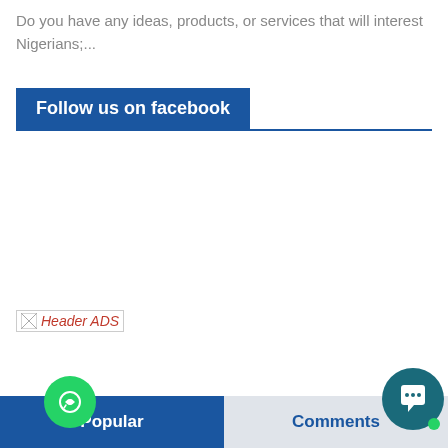Do you have any ideas, products, or services that will interest Nigerians;...
Follow us on facebook
[Figure (other): Broken image placeholder labeled 'Header ADS']
Popular   Comments